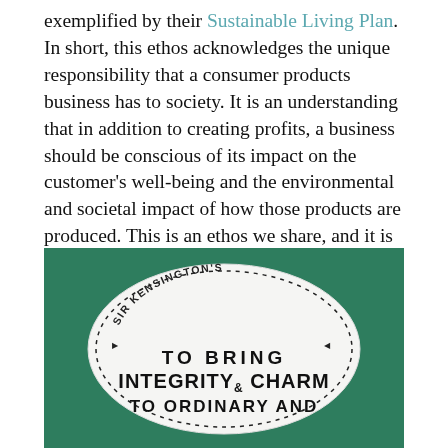exemplified by their Sustainable Living Plan. In short, this ethos acknowledges the unique responsibility that a consumer products business has to society. It is an understanding that in addition to creating profits, a business should be conscious of its impact on the customer's well-being and the environmental and societal impact of how those products are produced. This is an ethos we share, and it is how we define integrity in our mission.
[Figure (photo): A white oval ceramic plate with a decorative stitched border on a green background. The plate reads: SIR KENSINGTON'S / TO BRING / INTEGRITY & CHARM / TO ORDINARY AND (text continues below)]